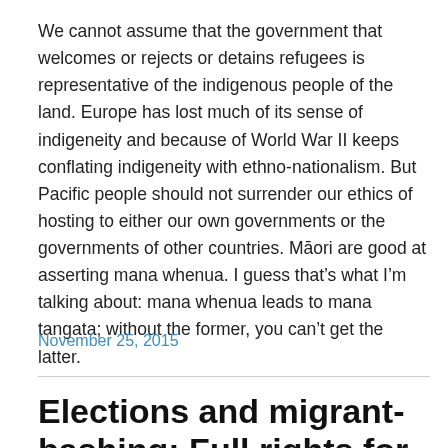We cannot assume that the government that welcomes or rejects or detains refugees is representative of the indigenous people of the land. Europe has lost much of its sense of indigeneity and because of World War II keeps conflating indigeneity with ethno-nationalism. But Pacific people should not surrender our ethics of hosting to either our own governments or the governments of other countries. Māori are good at asserting mana whenua. I guess that's what I'm talking about: mana whenua leads to mana tangata; without the former, you can't get the latter.
November 25, 2015
Elections and migrant-bashing: Full rights for migrant